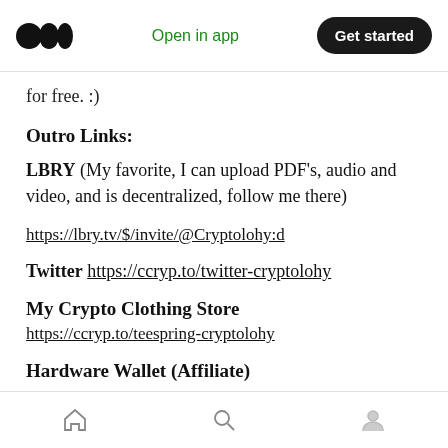Open in app | Get started
for free. :)
Outro Links:
LBRY (My favorite, I can upload PDF's, audio and video, and is decentralized, follow me there)
https://lbry.tv/$/invite/@Cryptolohy:d
Twitter https://ccryp.to/twitter-cryptolohy
My Crypto Clothing Store
https://ccryp.to/teespring-cryptolohy
Hardware Wallet (Affiliate)
Home | Search | Profile